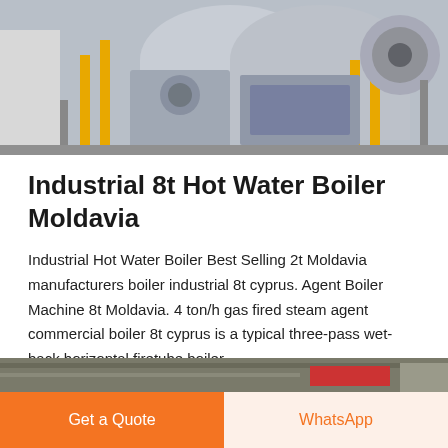[Figure (photo): Industrial boiler equipment in a factory setting, showing large cylindrical boiler units with yellow piping and machinery]
Industrial 8t Hot Water Boiler Moldavia
Industrial Hot Water Boiler Best Selling 2t Moldavia manufacturers boiler industrial 8t cyprus. Agent Boiler Machine 8t Moldavia. 4 ton/h gas fired steam agent commercial boiler 8t cyprus is a typical three-pass wet-back horizontal firetube boiler.
[Figure (screenshot): Get a quote red button]
[Figure (photo): Partial view of industrial equipment or machinery at bottom of page]
Get a Quote | WhatsApp